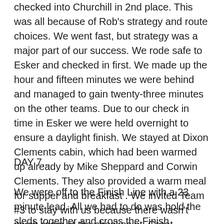checked into Churchill in 2nd place.  This was all because of Rob's strategy and route choices.  We went fast, but strategy was a major part of our success.  We rode safe to Esker and checked in first.  We made up the hour and fifteen minutes we were behind and managed to gain twenty-three minutes on the other teams.  Due to our check in time in Esker we were held overnight to ensure a daylight finish.  We stayed at Dixon Clements cabin, which had been warmed up already by Mike Sheppard and Corwin Clements. They also provided a warm meal for supper and breakfast . We invited Team #3 to stay with us because there wasn't much room at the checkpoint.  Great friendships were made.
DAY 7...
We were off to the Finish Line with a 23 minute lead. All we had to do was hold the sleds together and cross the Finish